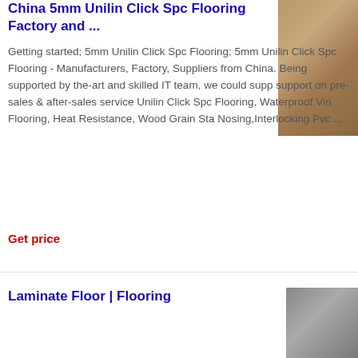China 5mm Unilin Click Spc Flooring Factory and ...
Getting started; 5mm Unilin Click Spc Flooring; 5mm Unilin Click Spc Flooring - Manufacturers, Factory, Suppliers from China. Being supported by the-art and skilled IT team, we could supp support on pre-sales & after-sales service Unilin Click Spc Flooring, Waterproof Vin Flooring, Heat Resistance, Wood Grain Sta Nosing,Interlocking Pvc ...
Get price
[Figure (photo): Wood grain flooring texture photo thumbnail]
Laminate Floor | Flooring
[Figure (photo): Laminate floor product thumbnail]